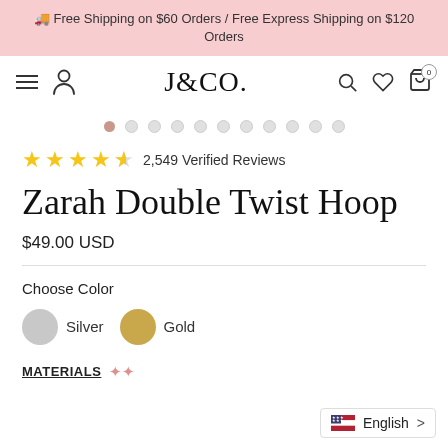🚚 Free Shipping on $60 Orders / Free Express Shipping on $120 Orders
[Figure (logo): J&CO. brand logo with hamburger menu, person icon, search, heart, and cart icons in navigation bar]
[Figure (other): Image carousel dots — 11 dots with first one filled/active in rose color]
★★★★½ 2,549 Verified Reviews
Zarah Double Twist Hoop
$49.00 USD
Choose Color
Silver  Gold
MATERIALS
English